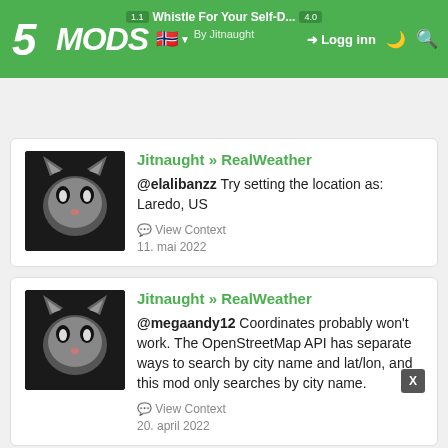5MODS | Whistle For Your Self-D... | Logg inn | By Jitnaught
Jitnaught » RealWeather
@elalibanzz Try setting the location as: Laredo, US
View Context
11. mai 2022
Jitnaught » RealWeather
@megaandy12 Coordinates probably won't work. The OpenStreetMap API has separate ways to search by city name and lat/lon, and this mod only searches by city name.
View Context
20. april 2022